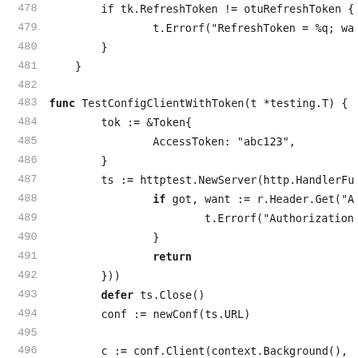[Figure (screenshot): Source code listing in Go programming language, showing lines 478-499 of a test file. Lines include token refresh logic and TestConfigClientWithToken function.]